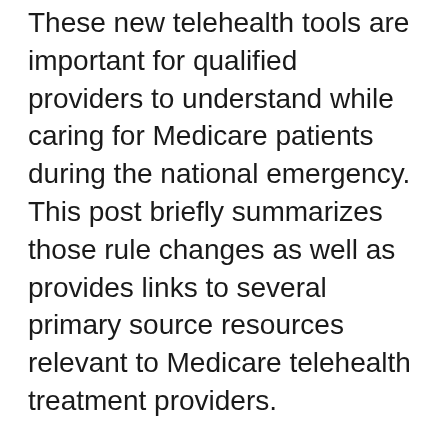These new telehealth tools are important for qualified providers to understand while caring for Medicare patients during the national emergency. This post briefly summarizes those rule changes as well as provides links to several primary source resources relevant to Medicare telehealth treatment providers.
On March 17, 2020, CMS posted an FAQ that explains the new guidance pertinent to Medicare-related telemedicine services during the COVID-19 public health emergency. On March 6, 2020, the President signed into law the Coronavirus Preparedness and Response Supplemental Appropriations Act (CPRSA). As detailed in